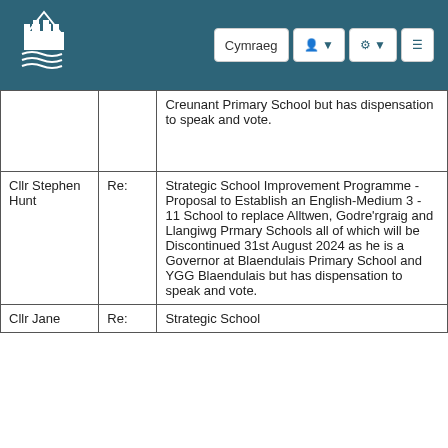Cymraeg [navigation controls]
| Member | Type | Interest / Details |
| --- | --- | --- |
|  |  | Creunant Primary School but has dispensation to speak and vote. |
| Cllr Stephen Hunt | Re: | Strategic School Improvement Programme - Proposal to Establish an English-Medium 3 - 11 School to replace Alltwen, Godre'rgraig and Llangiwg Prmary Schools all of which will be Discontinued 31st August 2024 as he is a Governor at Blaendulais Primary School and YGG Blaendulais but has dispensation to speak and vote. |
| Cllr Jane | Re: | Strategic School |